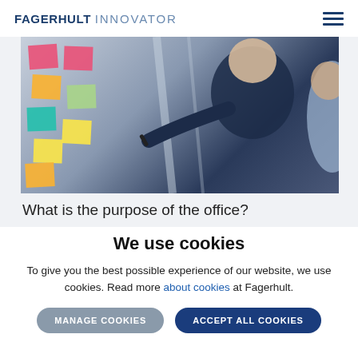FAGERHULT INNOVATOR
[Figure (photo): Two people in an office setting. A man in a dark shirt holds a marker pointing at colorful sticky notes on a glass wall. A woman in a light blue shirt looks on.]
What is the purpose of the office?
We use cookies
To give you the best possible experience of our website, we use cookies. Read more about cookies at Fagerhult.